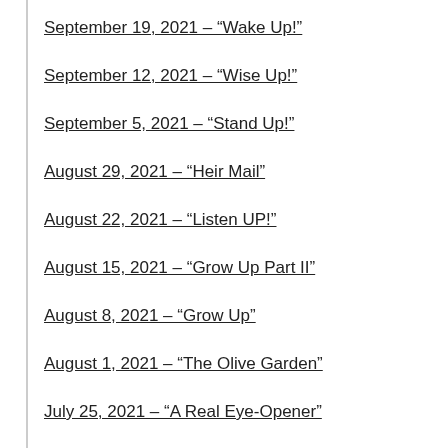September 19, 2021 – “Wake Up!”
September 12, 2021 – “Wise Up!”
September 5, 2021 – “Stand Up!”
August 29, 2021 – “Heir Mail”
August 22, 2021 – “Listen UP!”
August 15, 2021 – “Grow Up Part II”
August 8, 2021 – “Grow Up”
August 1, 2021 – “The Olive Garden”
July 25, 2021 – “A Real Eye-Opener”